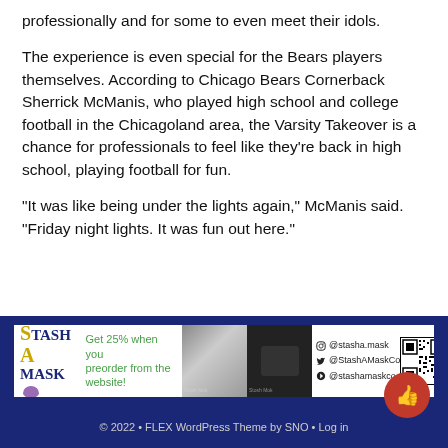professionally and for some to even meet their idols.
The experience is even special for the Bears players themselves. According to Chicago Bears Cornerback Sherrick McManis, who played high school and college football in the Chicagoland area, the Varsity Takeover is a chance for professionals to feel like they’re back in high school, playing football for fun.
“It was like being under the lights again,” McManis said. “Friday night lights. It was fun out here.”
[Figure (infographic): Stash A Mask advertisement banner: logo on left, promotional text 'Get 25% when you preorder from the website!', photos of mask products in center, social media handles @stasha.mask, @StashAMaskCo, @stashamaskco with icons, QR code, and WEBSITE label on right side.]
© 2022 • FLEX WordPress Theme by SNO • Log in